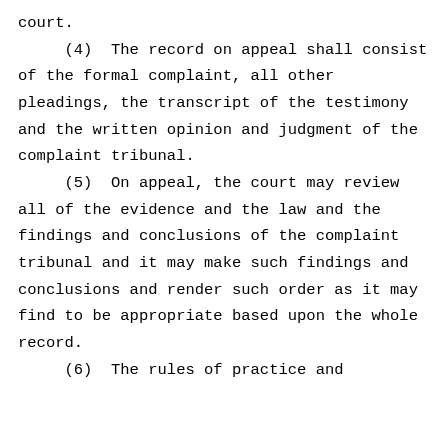court.
    (4)  The record on appeal shall consist of the formal complaint, all other pleadings, the transcript of the testimony and the written opinion and judgment of the complaint tribunal.
    (5)  On appeal, the court may review all of the evidence and the law and the findings and conclusions of the complaint tribunal and it may make such findings and conclusions and render such order as it may find to be appropriate based upon the whole record.
    (6)  The rules of practice and